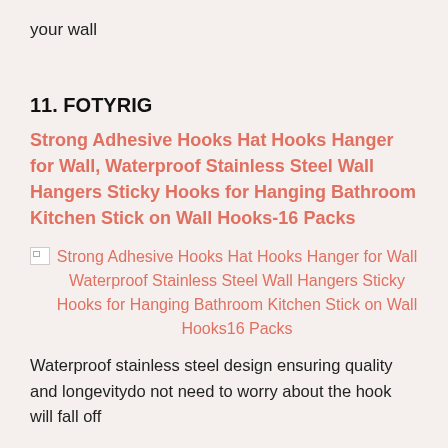your wall
11. FOTYRIG
Strong Adhesive Hooks Hat Hooks Hanger for Wall, Waterproof Stainless Steel Wall Hangers Sticky Hooks for Hanging Bathroom Kitchen Stick on Wall Hooks-16 Packs
[Figure (photo): Product image placeholder for Strong Adhesive Hooks Hat Hooks Hanger for Wall Waterproof Stainless Steel Wall Hangers Sticky Hooks for Hanging Bathroom Kitchen Stick on Wall Hooks16 Packs]
Strong Adhesive Hooks Hat Hooks Hanger for Wall Waterproof Stainless Steel Wall Hangers Sticky Hooks for Hanging Bathroom Kitchen Stick on Wall Hooks16 Packs
Waterproof stainless steel design ensuring quality and longevitydo not need to worry about the hook will fall off